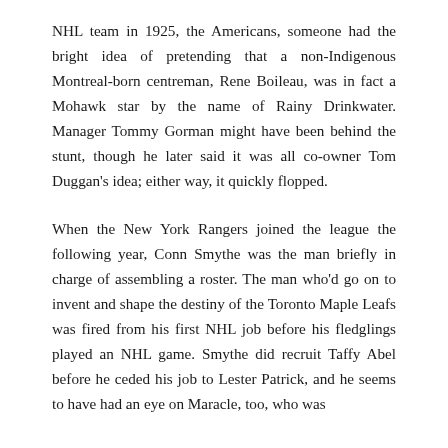NHL team in 1925, the Americans, someone had the bright idea of pretending that a non-Indigenous Montreal-born centreman, Rene Boileau, was in fact a Mohawk star by the name of Rainy Drinkwater. Manager Tommy Gorman might have been behind the stunt, though he later said it was all co-owner Tom Duggan's idea; either way, it quickly flopped.
When the New York Rangers joined the league the following year, Conn Smythe was the man briefly in charge of assembling a roster. The man who'd go on to invent and shape the destiny of the Toronto Maple Leafs was fired from his first NHL job before his fledglings played an NHL game. Smythe did recruit Taffy Abel before he ceded his job to Lester Patrick, and he seems to have had an eye on Maracle, too, who was